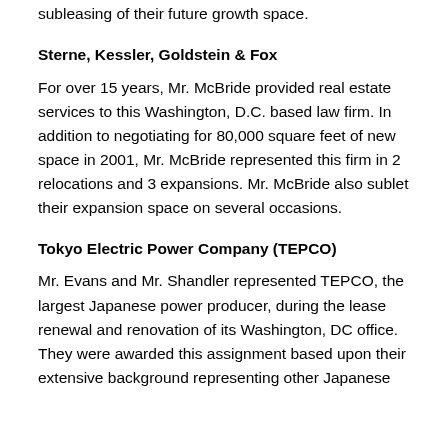subleasing of their future growth space.
Sterne, Kessler, Goldstein & Fox
For over 15 years, Mr. McBride provided real estate services to this Washington, D.C. based law firm. In addition to negotiating for 80,000 square feet of new space in 2001, Mr. McBride represented this firm in 2 relocations and 3 expansions. Mr. McBride also sublet their expansion space on several occasions.
Tokyo Electric Power Company (TEPCO)
Mr. Evans and Mr. Shandler represented TEPCO, the largest Japanese power producer, during the lease renewal and renovation of its Washington, DC office. They were awarded this assignment based upon their extensive background representing other Japanese